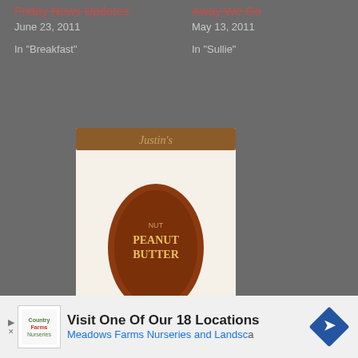Friday News Updates
June 23, 2011
In "Breakfast"
Away We Go
May 13, 2011
In "Sullie"
[Figure (photo): Justin's Peanut Butter product jar/package]
PBR Celebrates Two Years
April 16, 2012
In "Life Balance"
[Figure (infographic): Advertisement banner: Visit One Of Our 18 Locations - Meadows Farms Nurseries and Landscape]